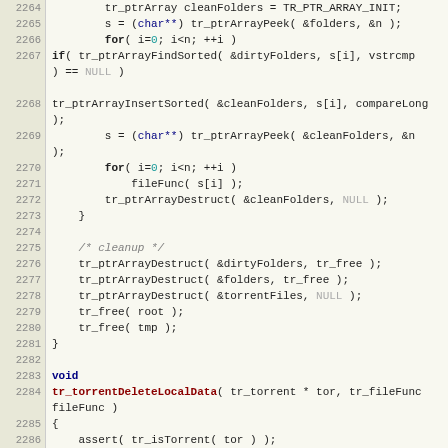Source code listing lines 2264-2290, showing C code for tr_torrentDeleteLocalData function